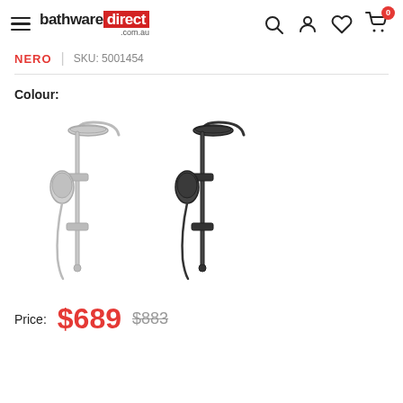[Figure (logo): Bathware Direct logo with hamburger menu icon on the left]
NERO  |  SKU: 5001454
Colour:
[Figure (photo): Two shower rail systems shown side by side: chrome/silver version on the left and matte black version on the right. Each features a round overhead rain shower head on a curved arm, an adjustable sliding rail, and a handheld shower head.]
Price:  $689  $883